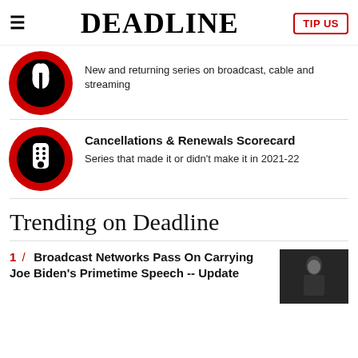DEADLINE | TIP US
[Figure (illustration): Red and black circular icon with a plant/leaf motif]
New and returning series on broadcast, cable and streaming
[Figure (illustration): Red and black circular icon with a TV remote control]
Cancellations & Renewals Scorecard
Series that made it or didn't make it in 2021-22
Trending on Deadline
1 / Broadcast Networks Pass On Carrying Joe Biden's Primetime Speech -- Update
[Figure (photo): Thumbnail photo of a man in a dark suit speaking at an event]